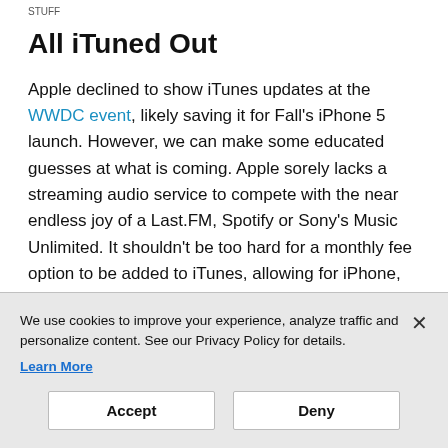STUFF
All iTuned Out
Apple declined to show iTunes updates at the WWDC event, likely saving it for Fall's iPhone 5 launch. However, we can make some educated guesses at what is coming. Apple sorely lacks a streaming audio service to compete with the near endless joy of a Last.FM, Spotify or Sony's Music Unlimited. It shouldn't be too hard for a monthly fee option to be added to iTunes, allowing for iPhone, iPod and iPad users to enjoy a radio-like stream, perhaps with "inserted" songs to hype new artists appropriate to
We use cookies to improve your experience, analyze traffic and personalize content. See our Privacy Policy for details. Learn More
Accept
Deny